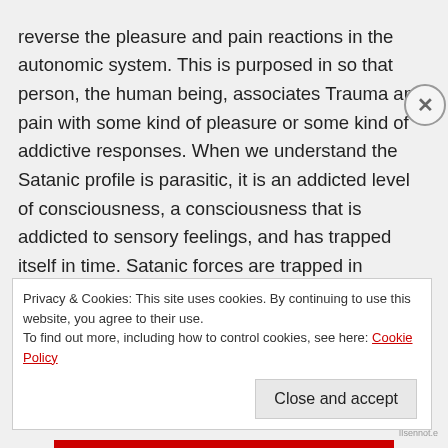reverse the pleasure and pain reactions in the autonomic system. This is purposed in so that person, the human being, associates Trauma and pain with some kind of pleasure or some kind of addictive responses. When we understand the Satanic profile is parasitic, it is an addicted level of consciousness, a consciousness that is addicted to sensory feelings, and has trapped itself in time. Satanic forces are trapped in Materialism, and this type of identity cannot move anywhere from its
Privacy & Cookies: This site uses cookies. By continuing to use this website, you agree to their use.
To find out more, including how to control cookies, see here: Cookie Policy
Close and accept